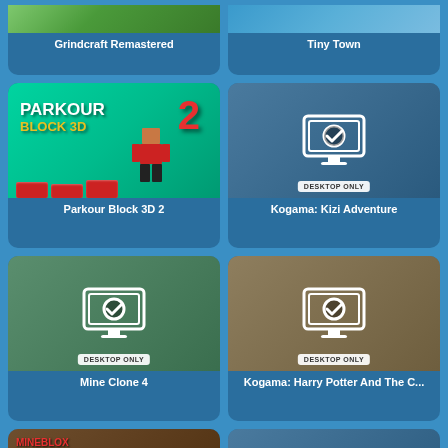[Figure (screenshot): Grindcraft Remastered game thumbnail - colorful voxel/block building game]
Grindcraft Remastered
[Figure (screenshot): Tiny Town game thumbnail - top-down town/city building game with vehicles]
Tiny Town
[Figure (screenshot): Parkour Block 3D 2 game thumbnail - green background with minecraft-style character running on red blocks]
Parkour Block 3D 2
[Figure (screenshot): Kogama: Kizi Adventure - Desktop Only - monitor icon with checkmark on blurred background]
Kogama: Kizi Adventure
[Figure (screenshot): Mine Clone 4 - Desktop Only - monitor icon with checkmark on blurred game background]
Mine Clone 4
[Figure (screenshot): Kogama: Harry Potter And The C... - Desktop Only - monitor icon with checkmark on blurred background]
Kogama: Harry Potter And The C...
[Figure (screenshot): Mineblox Apple Shooter game thumbnail - dark themed game with character]
[Figure (screenshot): Desktop Only game - monitor icon with checkmark on blurred background (partial)]